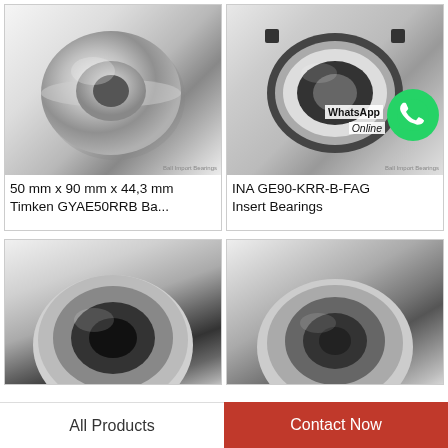[Figure (photo): Silver/grey insert ball bearing - Timken GYAE50RRB, viewed from front-left angle showing spherical outer ring and inner bore]
50 mm x 90 mm x 44,3 mm Timken GYAE50RRB Ba...
[Figure (photo): INA GE90-KRR-B-FAG insert bearing with dark polymer/rubber outer ring and silver inner ring, with WhatsApp Online overlay]
INA GE90-KRR-B-FAG Insert Bearings
[Figure (photo): Partially visible silver insert bearing, bottom-left quadrant, viewed from front]
[Figure (photo): Partially visible silver insert bearing, bottom-right quadrant, viewed from front]
All Products
Contact Now